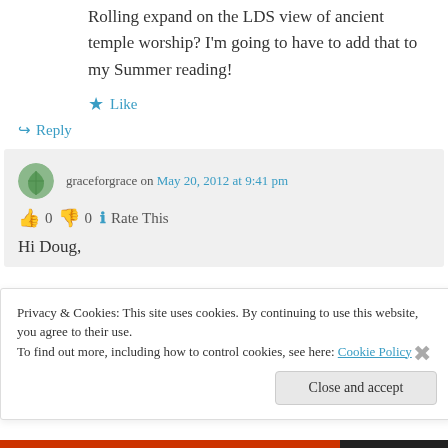Rolling expand on the LDS view of ancient temple worship? I'm going to have to add that to my Summer reading!
★ Like
↪ Reply
graceforgrace on May 20, 2012 at 9:41 pm
👍 0 👎 0 ℹ Rate This
Hi Doug,
Privacy & Cookies: This site uses cookies. By continuing to use this website, you agree to their use.
To find out more, including how to control cookies, see here: Cookie Policy
Close and accept